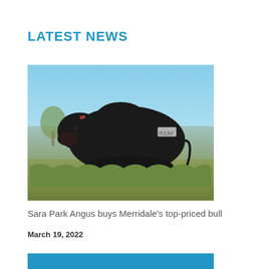LATEST NEWS
[Figure (photo): A large black Angus bull standing in a field with green grass and a blue sky background. The bull has a tag or marking 'R13d' visible on its side.]
Sara Park Angus buys Merridale's top-priced bull
March 19, 2022